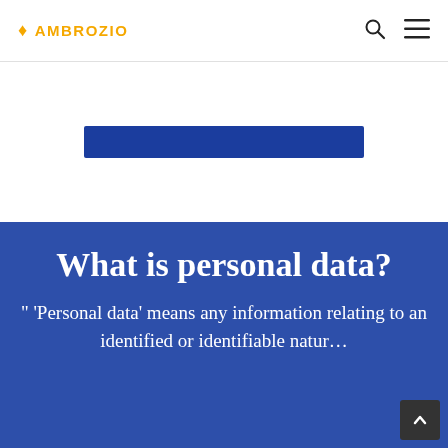AMBROZIO
[Figure (other): Blue horizontal banner/button element]
What is personal data?
" 'Personal data' means any information relating to an identified or identifiable natur…